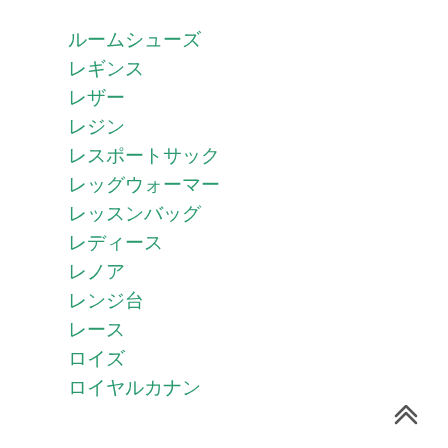ルームシューズ
レギンス
レザー
レジン
レスポートサック
レッグウォーマー
レッスンバッグ
レディース
レノア
レンジ台
レース
ロイズ
ロイヤルカナン
«